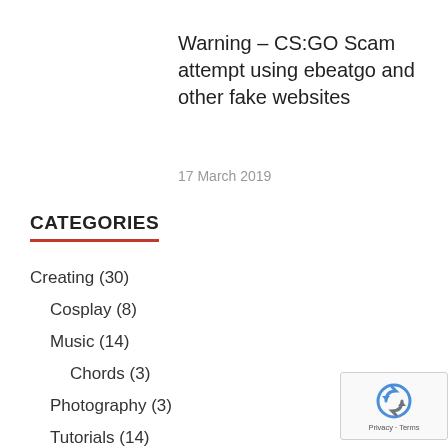Warning – CS:GO Scam attempt using ebeatgo and other fake websites
17 March 2019
CATEGORIES
Creating (30)
Cosplay (8)
Music (14)
Chords (3)
Photography (3)
Tutorials (14)
Gaming (41)
[Figure (logo): Google reCAPTCHA badge with blue/grey logo icon and Privacy · Terms text]